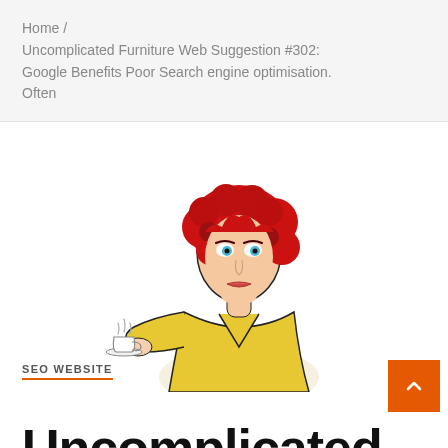Home / Uncomplicated Furniture Web Suggestion #302: Google Benefits Poor Search engine optimisation. Often
[Figure (illustration): Pop-art style illustration of a woman with red curly hair wearing a yellow top, holding a steaming coffee cup]
SEO WEBSITE
Uncomplicated